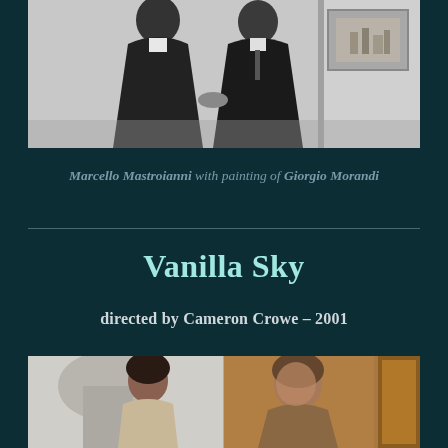[Figure (photo): Black and white film still showing two men in suits facing each other in conversation, with a painting of Giorgio Morandi visible on the wall behind them]
Marcello Mastroianni with painting of Giorgio Morandi
Vanilla Sky
directed by Cameron Crowe – 2001
[Figure (photo): Color film still showing a woman with dark hair on the left and a young man looking upward on the right, standing in an ornate interior]